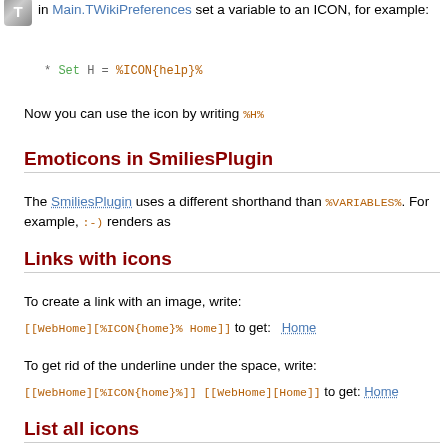in Main.TWikiPreferences set a variable to an ICON, for example:
* Set H = %ICON{help}%
Now you can use the icon by writing %H%
Emoticons in SmiliesPlugin
The SmiliesPlugin uses a different shorthand than %VARIABLES%. For example, :-) renders as
Links with icons
To create a link with an image, write:
[[WebHome][%ICON{home}% Home]] to get: Home
To get rid of the underline under the space, write:
[[WebHome][%ICON{home}%]] [[WebHome][Home]] to get: Home
List all icons